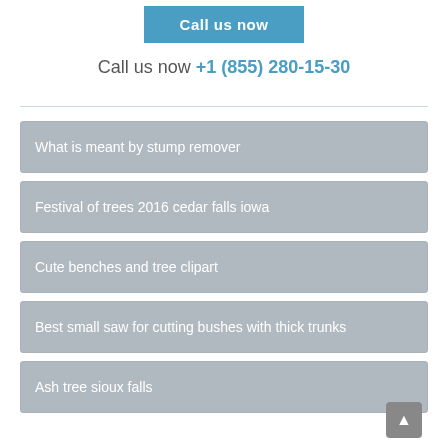[Figure (other): Blue 'Call us now' button at top]
Call us now +1 (855) 280-15-30
What is meant by stump remover
Festival of trees 2016 cedar falls iowa
Cute benches and tree clipart
Best small saw for cutting bushes with thick trunks
Ash tree sioux falls